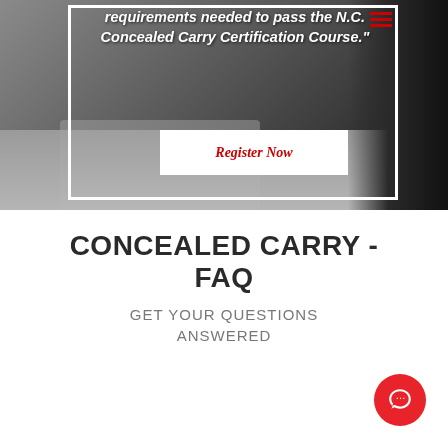[Figure (photo): Photo of martial arts / self-defense class on grey floor mat with overlaid italic bold white quote text about N.C. Concealed Carry Certification Course, a white-bordered box framing the text, and a red 'Register Now' button]
CONCEALED CARRY - FAQ
GET YOUR QUESTIONS ANSWERED